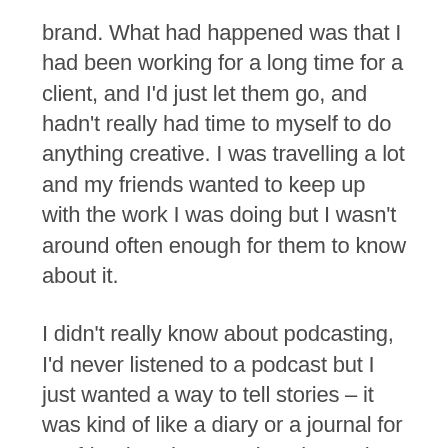brand. What had happened was that I had been working for a long time for a client, and I'd just let them go, and hadn't really had time to myself to do anything creative. I was travelling a lot and my friends wanted to keep up with the work I was doing but I wasn't around often enough for them to know about it.
I didn't really know about podcasting, I'd never listened to a podcast but I just wanted a way to tell stories – it was kind of like a diary or a journal for my friends to hear stories about what I was doing, or the kind of predicaments that I was getting myself into, or things that I'd heard from clients, or sort of stories through the